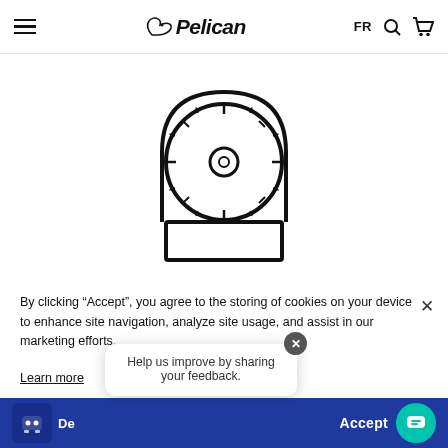Pelican — FR
[Figure (illustration): Line drawing of a combination lock/safe dial mounted on a rectangular base, showing a circular dial with tick marks and a central circular element, all in black outline style on white background.]
By clicking “Accept”, you agree to the storing of cookies on your device to enhance site navigation, analyze site usage, and assist in our marketing efforts.
Learn more
Help us improve by sharing your feedback.
Deny
Accept